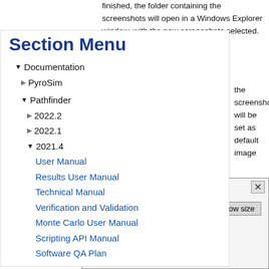finished, the folder containing the screenshots will open in a Windows Explorer window, with the new screenshots selected. If only one screenshot was taken, the screenshot will be set as your default image viewer's default image
Section Menu
▼ Documentation
▶ PyroSim
▼ Pathfinder
▶ 2022.2
▶ 2022.1
▼ 2021.4
User Manual
Results User Manual
Technical Manual
Verification and Validation
Monte Carlo User Manual
Scripting API Manual
Software QA Plan
screenshots are n which views and s. The different lefined below.
[Figure (screenshot): Dialog box with close button (×), 'pixels' label, and 'Use window size' button]